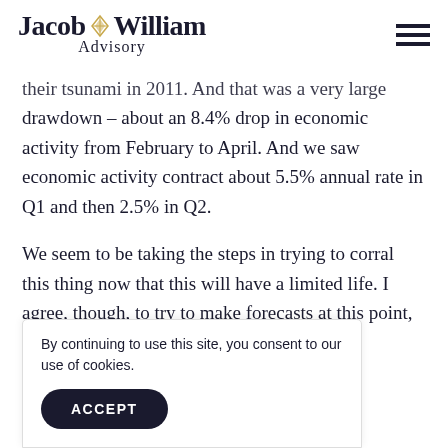Jacob William Advisory
their tsunami in 2011. And that was a very large drawdown – about an 8.4% drop in economic activity from February to April. And we saw economic activity contract about 5.5% annual rate in Q1 and then 2.5% in Q2.
We seem to be taking the steps in trying to corral this thing now that this will have a limited life. I agree, though, to try to make forecasts at this point, it's really h
By continuing to use this site, you consent to our use of cookies.
ACCEPT